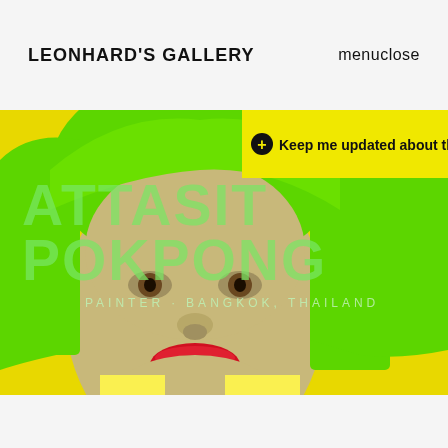LEONHARD'S GALLERY
menuclose
[Figure (illustration): Painting of a figure with bright green hair and red lips on a yellow background, by Attasit Pokpong. Text overlay reads 'ATTASIT POKPONG' and 'PAINTER · BANGKOK, THAILAND'. Yellow banner with '+ Keep me updated about this artist'.]
+ Keep me updated about this artist